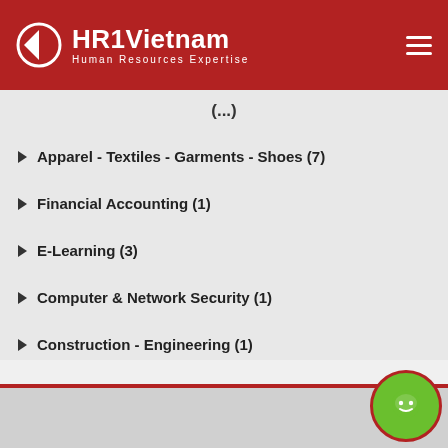HR1Vietnam - Human Resources Expertise
(...)
Apparel - Textiles - Garments - Shoes (7)
Financial Accounting (1)
E-Learning (3)
Computer & Network Security (1)
Construction - Engineering (1)
IT - Consulting Networking (1)
[Figure (illustration): Green circular chat/messenger button icon at bottom right corner]